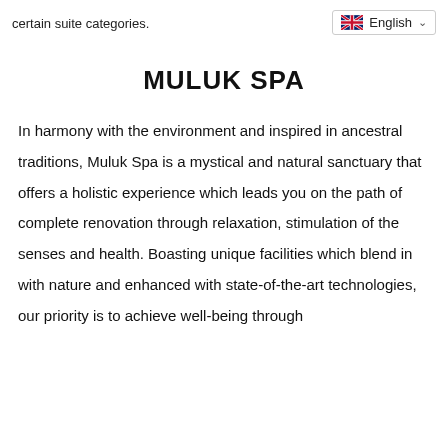certain suite categories.
[Figure (other): Language selector UI element showing UK flag and 'English' with dropdown chevron]
MULUK SPA
In harmony with the environment and inspired in ancestral traditions, Muluk Spa is a mystical and natural sanctuary that offers a holistic experience which leads you on the path of complete renovation through relaxation, stimulation of the senses and health. Boasting unique facilities which blend in with nature and enhanced with state-of-the-art technologies, our priority is to achieve well-being through